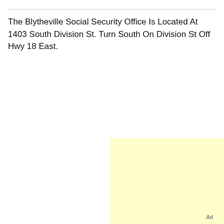The Blytheville Social Security Office Is Located At 1403 South Division St. Turn South On Division St Off Hwy 18 East.
[Figure (other): Yellow advertisement box with caption 'Chat with an expert Online Now', an Open button, and an Ad label at the bottom right.]